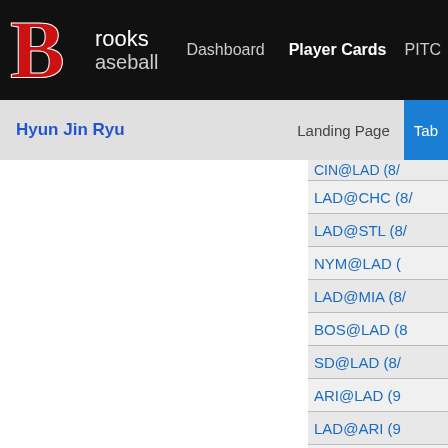Brooks Baseball — Dashboard | Player Cards | PITC...
Hyun Jin Ryu | Landing Page | Tab...
CIN@LAD (8/...
LAD@CHC (8/...
LAD@STL (8/...
NYM@LAD (8/...
LAD@MIA (8/...
BOS@LAD (8/...
SD@LAD (8/...
ARI@LAD (9/...
LAD@ARI (9/...
LAD@SF (9/...
COL@LAD (9/...